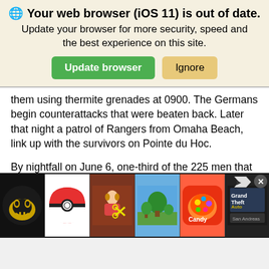Your web browser (iOS 11) is out of date.
Update your browser for more security, speed and the best experience on this site.
them using thermite grenades at 0900. The Germans begin counterattacks that were beaten back. Later that night a patrol of Rangers from Omaha Beach, link up with the survivors on Pointe du Hoc.
By nightfall on June 6, one-third of the 225 men that came ashore were either dead or wounded, but many of the wounded continued to fight on. Food, water, and ammunition were dangerously low. Many of the Rangers took to using captured German weapons as ammunition for those was plentiful
[Figure (screenshot): Advertisement bar showing app icons: Bendy and the Ink Machine, Pokemon, a girl with scissors game, a tree/landscape game, Candy Crush, and GTA. Includes a close button and arrow indicator.]